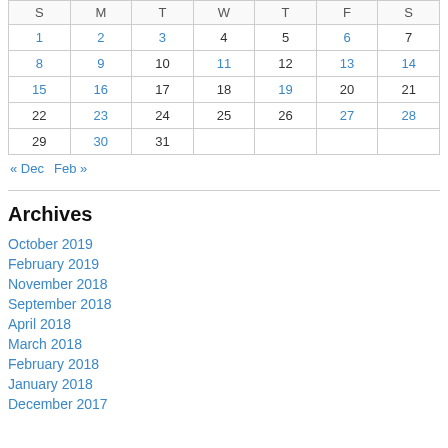| S | M | T | W | T | F | S |
| --- | --- | --- | --- | --- | --- | --- |
| 1 | 2 | 3 | 4 | 5 | 6 | 7 |
| 8 | 9 | 10 | 11 | 12 | 13 | 14 |
| 15 | 16 | 17 | 18 | 19 | 20 | 21 |
| 22 | 23 | 24 | 25 | 26 | 27 | 28 |
| 29 | 30 | 31 |  |  |  |  |
« Dec   Feb »
Archives
October 2019
February 2019
November 2018
September 2018
April 2018
March 2018
February 2018
January 2018
December 2017